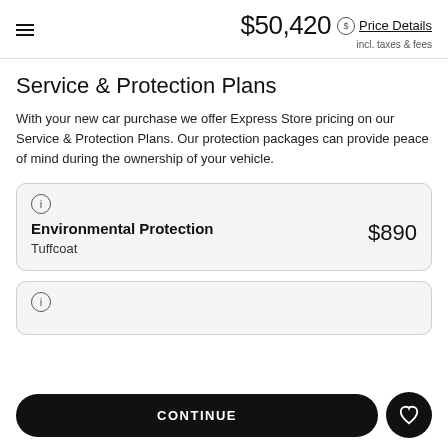$50,420 incl. taxes & fees — Price Details
Service & Protection Plans
With your new car purchase we offer Express Store pricing on our Service & Protection Plans. Our protection packages can provide peace of mind during the ownership of your vehicle.
Environmental Protection $890 Tuffcoat
[Figure (other): Second protection plan card (partially visible, info icon only)]